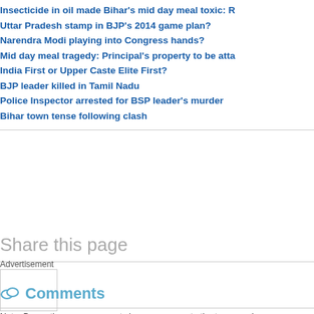Insecticide in oil made Bihar's mid day meal toxic: R
Uttar Pradesh stamp in BJP's 2014 game plan?
Narendra Modi playing into Congress hands?
Mid day meal tragedy: Principal's property to be atta
India First or Upper Caste Elite First?
BJP leader killed in Tamil Nadu
Police Inspector arrested for BSP leader's murder
Bihar town tense following clash
Share this page
Advertisement
Comments
Note: By posting your comments here you agree to the terms and c